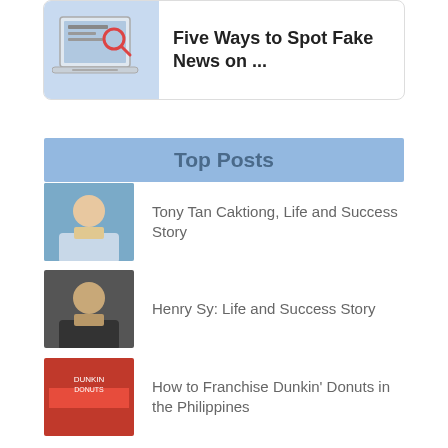[Figure (screenshot): Card with laptop/magnifier illustration and text 'Five Ways to Spot Fake News on ...']
Top Posts
Tony Tan Caktiong, Life and Success Story
Henry Sy: Life and Success Story
How to Franchise Dunkin' Donuts in the Philippines
The Top 10 Corporations in the Philippines (For Job Hunting)
Affordable Food Cart Franchises in the Philippines (Below P50,000.00)
Angel's Hamburger Franchise: Is It Still Open? Alternatives?